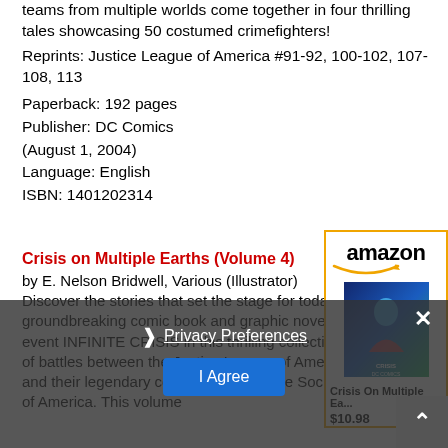teams from multiple worlds come together in four thrilling tales showcasing 50 costumed crimefighters!
Reprints: Justice League of America #91-92, 100-102, 107-108, 113
Paperback: 192 pages
Publisher: DC Comics
(August 1, 2004)
Language: English
ISBN: 1401202314
Crisis on Multiple Earths (Volume 4)
by E. Nelson Bridwell, Various (Illustrator)
Discover the stories that set the stage for today's groundbreaking comic book and graphic novel event INFINITE CRISIS in this thrilling collection of battles between the Justice League of America and their legendary counterparts, the Justice Society of America. This volume
[Figure (screenshot): Amazon product panel showing amazon logo with smile, a book cover for Crisis on Multiple Earths, book title 'Crisis On Multiple Ea...' and price $10.98]
Privacy Preferences
I Agree